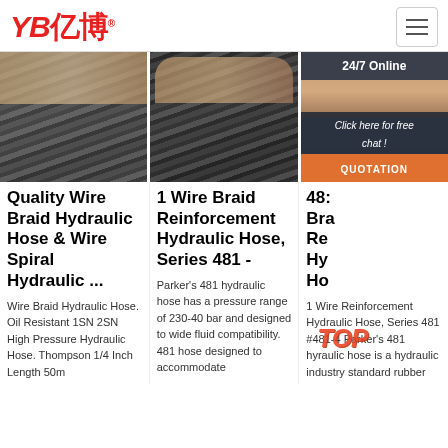[Figure (logo): YB 亿博 logo in red with registered trademark symbol, hamburger menu icon on right]
[Figure (photo): Three-panel image row: first two panels show wire braid hydraulic hoses being held, third panel shows 24/7 online chat agent with headset]
Quality Wire Braid Hydraulic Hose & Wire Spiral Hydraulic ...
Wire Braid Hydraulic Hose. Oil Resistant 1SN 2SN High Pressure Hydraulic Hose. Thompson 1/4 Inch Length 50m
1 Wire Braid Reinforcement Hydraulic Hose, Series 481 -
Parker's 481 hydraulic hose has a pressure range of 230-40 bar and designed to wide fluid compatibility. 481 hose designed to accommodate
48: Bra Re Hy Ho
1 Wire Reinforcement Hydraulic Hose, Series 481 #481-4 Parker's 481 hyraulic hose is a hydraulic industry standard rubber